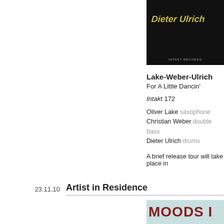[Figure (photo): Album cover for Lake-Weber-Ulrich 'For A Little Dancin'' on Intakt Records, dark/black background with stylized text]
Lake-Weber-Ulrich
For A Little Dancin'
Intakt 172
Oliver Lake saxophone
Christian Weber double bass
Dieter Ulrich drums
A brief release tour will take place in
23.11.10
Artist in Residence
[Figure (photo): Concert poster for Moods Artist in Residence featuring Christian, with dark red bold text on light blue/teal background]